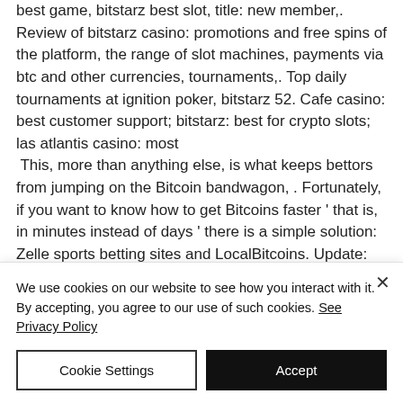best game, bitstarz best slot, title: new member,. Review of bitstarz casino: promotions and free spins of the platform, the range of slot machines, payments via btc and other currencies, tournaments,. Top daily tournaments at ignition poker, bitstarz 52. Cafe casino: best customer support; bitstarz: best for crypto slots; las atlantis casino: most  This, more than anything else, is what keeps bettors from jumping on the Bitcoin bandwagon, . Fortunately, if you want to know how to get Bitcoins faster ' that is, in minutes instead of days ' there is a simple solution: Zelle sports betting sites and LocalBitcoins. Update: Select sports betting...
We use cookies on our website to see how you interact with it. By accepting, you agree to our use of such cookies. See Privacy Policy